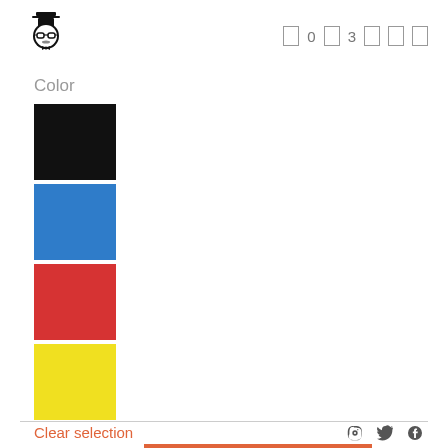[Figure (logo): Cartoon character logo with top hat and glasses]
0  3
Color
[Figure (illustration): Four color swatches: black, blue, red, yellow]
Clear selection
1
ADD TO CART
Weight: kg